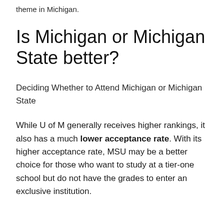theme in Michigan.
Is Michigan or Michigan State better?
Deciding Whether to Attend Michigan or Michigan State
While U of M generally receives higher rankings, it also has a much lower acceptance rate. With its higher acceptance rate, MSU may be a better choice for those who want to study at a tier-one school but do not have the grades to enter an exclusive institution.